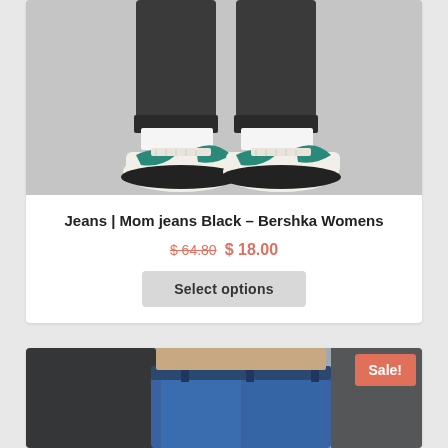[Figure (photo): Photo of person wearing black jeans cuffed at ankle and white chunky sneakers with teal/green accents on grey background]
Jeans | Mom jeans Black – Bershka Womens
$ 64.80 $ 18.00
Select options
[Figure (photo): Photo of person wearing blue denim jeans and black top, with a Sale! badge in the upper right corner]